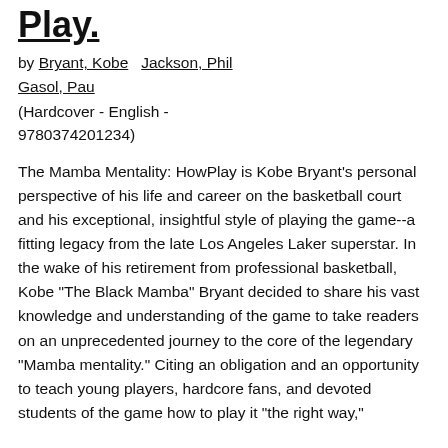Play.
by Bryant, Kobe   Jackson, Phil
Gasol, Pau
(Hardcover - English - 9780374201234)
The Mamba Mentality: HowPlay is Kobe Bryant's personal perspective of his life and career on the basketball court and his exceptional, insightful style of playing the game--a fitting legacy from the late Los Angeles Laker superstar. In the wake of his retirement from professional basketball, Kobe "The Black Mamba" Bryant decided to share his vast knowledge and understanding of the game to take readers on an unprecedented journey to the core of the legendary "Mamba mentality." Citing an obligation and an opportunity to teach young players, hardcore fans, and devoted students of the game how to play it "the right way,"